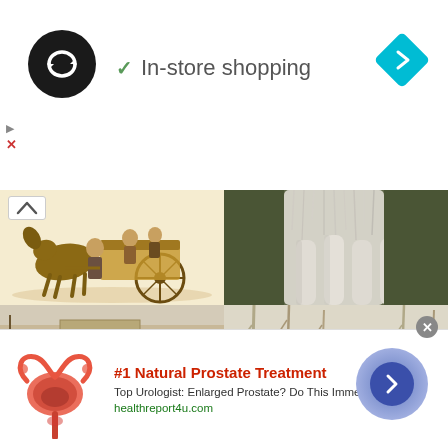[Figure (logo): Black circle logo with infinity/loop symbol]
✓  In-store shopping
[Figure (illustration): Blue diamond navigation arrow icon]
[Figure (illustration): Four image grid: top-left sepia illustration of horse and cart with people; top-right photo of white horse legs; bottom-left sepia illustration of urban street scene; bottom-right sepia illustration of man working outdoors]
[Figure (logo): Infolinks logo bar]
[Figure (illustration): Advertisement banner: anatomical prostate diagram image]
#1 Natural Prostate Treatment
Top Urologist: Enlarged Prostate? Do This Immediately!
healthreport4u.com